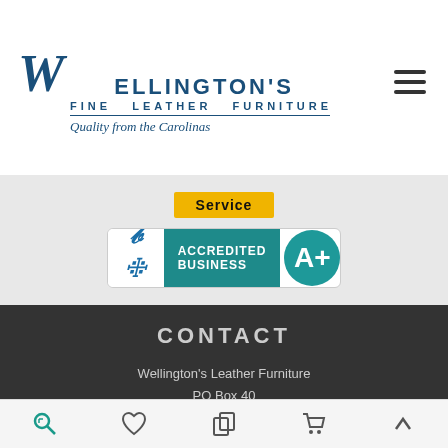[Figure (logo): Wellington's Fine Leather Furniture logo with cursive W and tagline 'Quality from the Carolinas']
[Figure (logo): BBB Accredited Business A+ badge with Service label above]
CONTACT
Wellington's Leather Furniture
PO Box 40
Johns Island, SC 29457
800-262-1049 Toll Free
843-557-1000 Local
843-557-1001 Fax
Email Us
[Figure (infographic): Bottom navigation bar with search, heart/wishlist, compare, cart, and scroll-to-top icons]